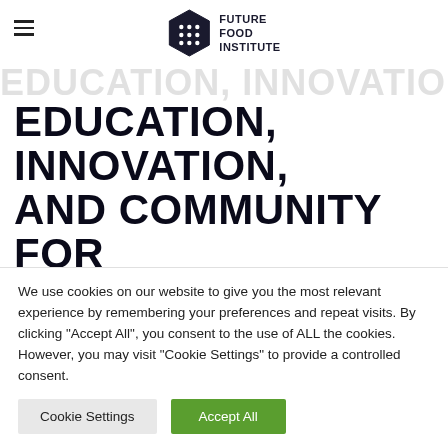Future Food Institute
EDUCATION, INNOVATION, AND COMMUNITY FOR BIODIVERSITY
Future Food Institute is committed to contributing to the protection, conservation, valorization, and enlivenment of biodiversity in
We use cookies on our website to give you the most relevant experience by remembering your preferences and repeat visits. By clicking "Accept All", you consent to the use of ALL the cookies. However, you may visit "Cookie Settings" to provide a controlled consent.